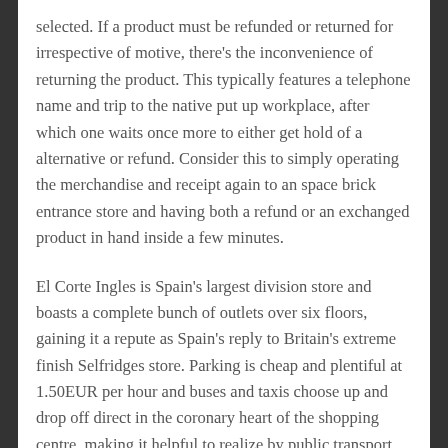selected. If a product must be refunded or returned for irrespective of motive, there's the inconvenience of returning the product. This typically features a telephone name and trip to the native put up workplace, after which one waits once more to either get hold of a alternative or refund. Consider this to simply operating the merchandise and receipt again to an space brick entrance store and having both a refund or an exchanged product in hand inside a few minutes.
El Corte Ingles is Spain's largest division store and boasts a complete bunch of outlets over six floors, gaining it a repute as Spain's reply to Britain's extreme finish Selfridges store. Parking is cheap and plentiful at 1.50EUR per hour and buses and taxis choose up and drop off direct in the coronary heart of the shopping centre, making it helpful to realize by public transport.